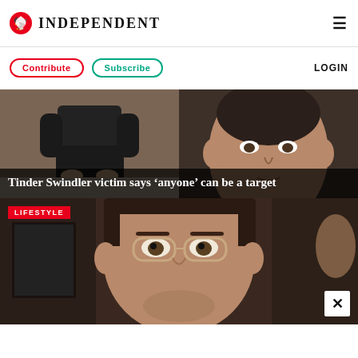INDEPENDENT
Contribute | Subscribe | LOGIN
[Figure (photo): Split photo: left side shows person in black leather pants crouching, right side shows close-up of a man's face. Overlay headline: Tinder Swindler victim says 'anyone' can be a target]
Tinder Swindler victim says 'anyone' can be a target
[Figure (photo): Photo of a man with glasses and dark hair, labeled LIFESTYLE. Close button (×) visible at bottom right.]